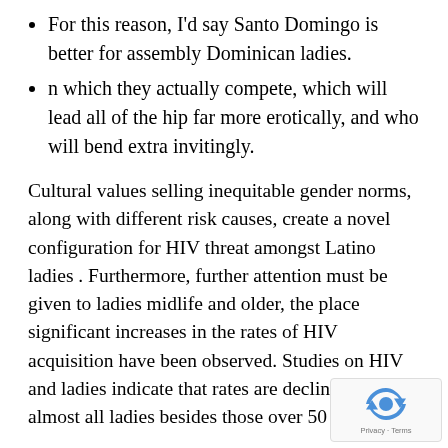For this reason, I'd say Santo Domingo is better for assembly Dominican ladies.
n which they actually compete, which will lead all of the hip far more erotically, and who will bend extra invitingly.
Cultural values selling inequitable gender norms, along with different risk causes, create a novel configuration for HIV threat amongst Latino ladies . Furthermore, further attention must be given to ladies midlife and older, the place significant increases in the rates of HIV acquisition have been observed. Studies on HIV and ladies indicate that rates are declining for almost all ladies besides those over 50 .
Dominican Girl: What Things To Know Before You Get